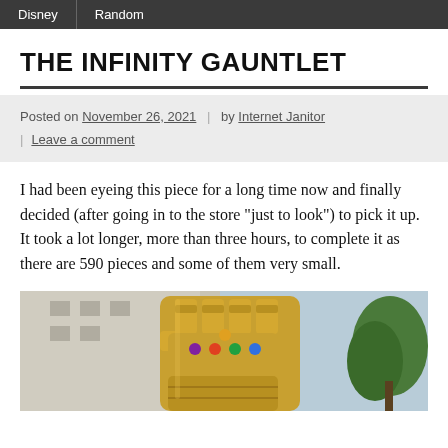Disney | Random
THE INFINITY GAUNTLET
Posted on November 26, 2021 | by Internet Janitor | Leave a comment
I had been eyeing this piece for a long time now and finally decided (after going in to the store “just to look”) to pick it up. It took a lot longer, more than three hours, to complete it as there are 590 pieces and some of them very small.
[Figure (photo): Photo of a gold LEGO Infinity Gauntlet model held up outdoors with a building and trees in the background.]